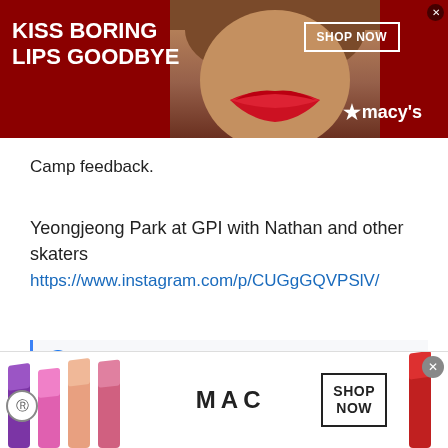[Figure (advertisement): Macy's lipstick ad banner with red background, woman's face, 'KISS BORING LIPS GOODBYE' text, SHOP NOW button, and Macy's star logo]
Camp feedback.
Yeongjeong Park at GPI with Nathan and other skaters
https://www.instagram.com/p/CUGgGQVPSlV/
Weiwei0505, SaDa and Kelly
[Figure (screenshot): Video thumbnail of figure skater at Beijing 2022 Olympics with play button overlay, showing Olympic rings]
[Figure (advertisement): MAC cosmetics ad banner with colorful lipsticks, MAC logo, and SHOP NOW button]